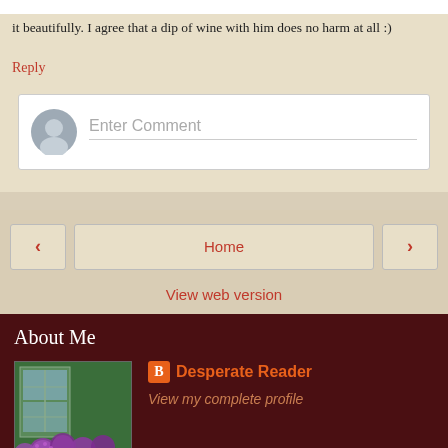it beautifully. I agree that a dip of wine with him does no harm at all :)
Reply
[Figure (other): Comment input box with avatar placeholder and 'Enter Comment' text field]
[Figure (other): Navigation bar with left arrow, Home button, and right arrow]
View web version
About Me
[Figure (photo): Profile photo showing purple allium flowers in front of a greenhouse]
Desperate Reader
View my complete profile
Powered by Blogger.